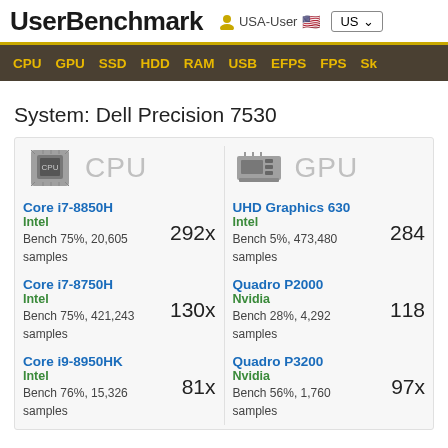UserBenchmark  USA-User  US
CPU  GPU  SSD  HDD  RAM  USB  EFPS  FPS  Sk
System: Dell Precision 7530
| CPU | GPU |
| --- | --- |
| Core i7-8850H
Intel
Bench 75%, 20,605 samples
292x | UHD Graphics 630
Intel
Bench 5%, 473,480 samples
284 |
| Core i7-8750H
Intel
Bench 75%, 421,243 samples
130x | Quadro P2000
Nvidia
Bench 28%, 4,292 samples
118 |
| Core i9-8950HK
Intel
Bench 76%, 15,326 samples
81x | Quadro P3200
Nvidia
Bench 56%, 1,760 samples
97x |